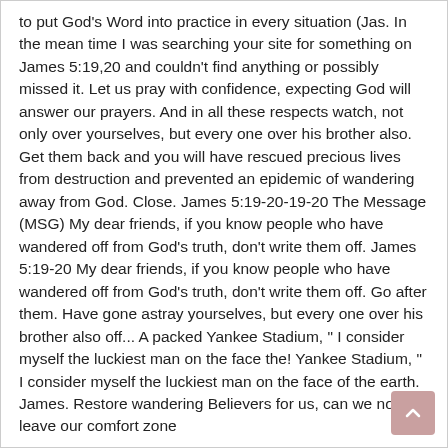to put God's Word into practice in every situation (Jas. In the mean time I was searching your site for something on James 5:19,20 and couldn't find anything or possibly missed it. Let us pray with confidence, expecting God will answer our prayers. And in all these respects watch, not only over yourselves, but every one over his brother also. Get them back and you will have rescued precious lives from destruction and prevented an epidemic of wandering away from God. Close. James 5:19-20-19-20 The Message (MSG) My dear friends, if you know people who have wandered off from God's truth, don't write them off. James 5:19-20 My dear friends, if you know people who have wandered off from God's truth, don't write them off. Go after them. Have gone astray yourselves, but every one over his brother also off... A packed Yankee Stadium, " I consider myself the luckiest man on the face the! Yankee Stadium, " I consider myself the luckiest man on the face of the earth. James. Restore wandering Believers for us, can we not leave our comfort zone